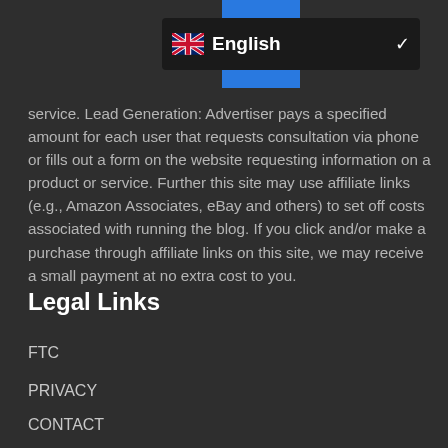≡ English ∨
service. Lead Generation: Advertiser pays a specified amount for each user that requests consultation via phone or fills out a form on the website requesting information on a product or service. Further this site may use affiliate links (e.g., Amazon Associates, eBay and others) to set off costs associated with running the blog. If you click and/or make a purchase through affiliate links on this site, we may receive a small payment at no extra cost to you.
Legal Links
FTC
PRIVACY
CONTACT
Not a Financial Advise